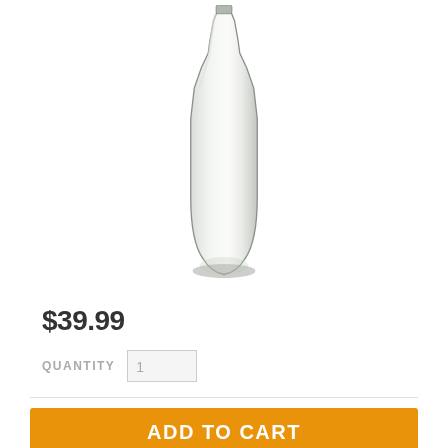[Figure (photo): A clear glass bottle with a narrow neck, photographed on a white background.]
$39.99
QUANTITY 1
ADD TO CART